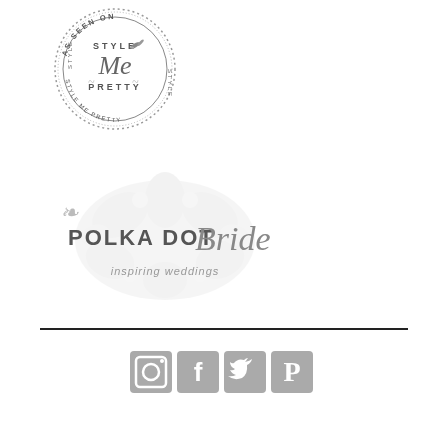[Figure (logo): Style Me Pretty circular stamp logo with text 'AS SEEN ON' around the top, 'STYLE ME PRETTY' in the center, and decorative hummingbird illustration]
[Figure (logo): Polka Dot Bride logo with decorative lace background, script and serif text reading 'POLKA DOT Bride' and italic tagline 'inspiring weddings']
[Figure (illustration): A horizontal divider line followed by four square social media icons: Instagram (camera), Facebook (f), Twitter (bird), Pinterest (P), all in grey]